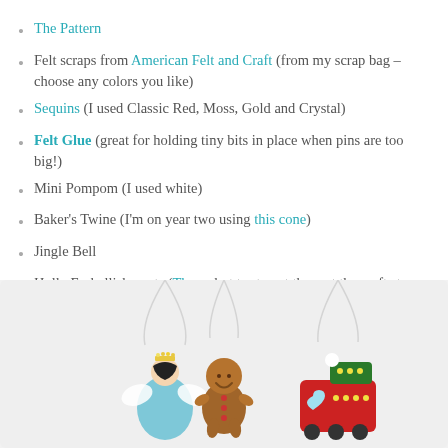The Pattern
Felt scraps from American Felt and Craft (from my scrap bag – choose any colors you like)
Sequins (I used Classic Red, Moss, Gold and Crystal)
Felt Glue (great for holding tiny bits in place when pins are too big!)
Mini Pompom (I used white)
Baker's Twine (I'm on year two using this cone)
Jingle Bell
Holly Embellishments (These, but try to get them at the craft store cheaper)
[Figure (photo): Three handmade felt Christmas ornaments hanging by baker's twine: an angel with a gold sequin crown, a gingerbread man, and a red train, photographed against a white background.]